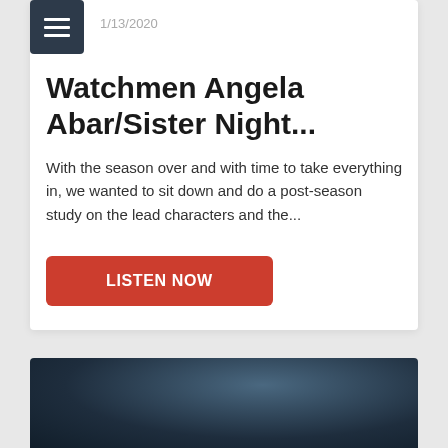1/13/2020
Watchmen Angela Abar/Sister Night...
With the season over and with time to take everything in, we wanted to sit down and do a post-season study on the lead characters and the...
LISTEN NOW
[Figure (photo): Dark teal/navy photo strip at bottom of page, partially visible, showing a dark silhouette or figure against a dark background]